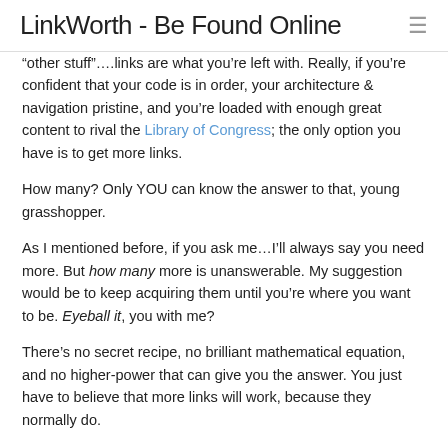LinkWorth - Be Found Online
“other stuff”….links are what you’re left with. Really, if you’re confident that your code is in order, your architecture & navigation pristine, and you’re loaded with enough great content to rival the Library of Congress; the only option you have is to get more links.
How many? Only YOU can know the answer to that, young grasshopper.
As I mentioned before, if you ask me…I’ll always say you need more. But how many more is unanswerable. My suggestion would be to keep acquiring them until you’re where you want to be. Eyeball it, you with me?
There’s no secret recipe, no brilliant mathematical equation, and no higher-power that can give you the answer. You just have to believe that more links will work, because they normally do.